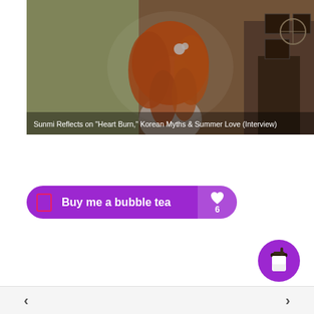[Figure (photo): A woman with long bright orange/red curly hair and a white flower in her hair, wearing a white outfit, photographed indoors with artwork and a dark cabinet in background. Image has a dark overlay.]
Sunmi Reflects on "Heart Burn," Korean Myths & Summer Love (Interview)
Buy me a bubble tea
6
[Figure (illustration): Purple circular floating action button with a coffee/bubble tea cup icon]